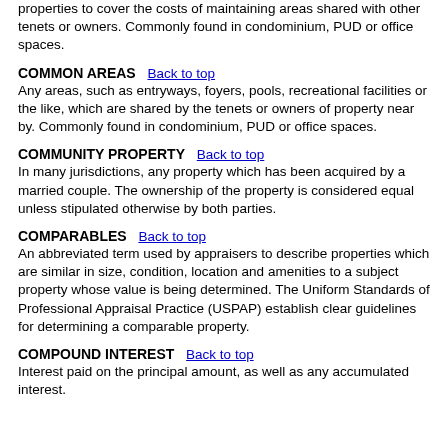properties to cover the costs of maintaining areas shared with other tenets or owners. Commonly found in condominium, PUD or office spaces.
COMMON AREAS
Any areas, such as entryways, foyers, pools, recreational facilities or the like, which are shared by the tenets or owners of property near by. Commonly found in condominium, PUD or office spaces.
COMMUNITY PROPERTY
In many jurisdictions, any property which has been acquired by a married couple. The ownership of the property is considered equal unless stipulated otherwise by both parties.
COMPARABLES
An abbreviated term used by appraisers to describe properties which are similar in size, condition, location and amenities to a subject property whose value is being determined. The Uniform Standards of Professional Appraisal Practice (USPAP) establish clear guidelines for determining a comparable property.
COMPOUND INTEREST
Interest paid on the principal amount, as well as any accumulated interest.